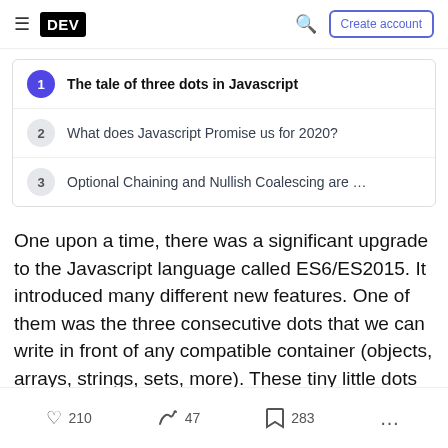DEV — Create account
1 The tale of three dots in Javascript
2 What does Javascript Promise us for 2020?
3 Optional Chaining and Nullish Coalescing are …
One upon a time, there was a significant upgrade to the Javascript language called ES6/ES2015. It introduced many different new features. One of them was the three consecutive dots that we can write in front of any compatible container (objects, arrays, strings, sets, more). These tiny little dots enable us
210   47   283   ...